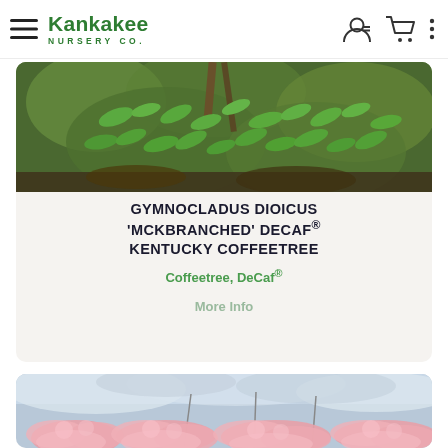Kankakee Nursery Co.
[Figure (photo): Photo of tree branches with hanging green leaves against a brown/green background]
GYMNOCLADUS DIOICUS 'MCKBRANCHED' DECAF® KENTUCKY COFFEETREE
Coffeetree, DeCaf®
More Info
[Figure (photo): Photo of pink fluffy flowering trees (likely mimosa or similar) against a cloudy sky]